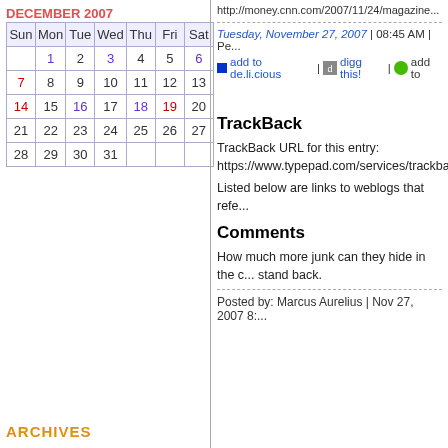DECEMBER 2007
| Sun | Mon | Tue | Wed | Thu | Fri | Sat |
| --- | --- | --- | --- | --- | --- | --- |
|  | 1 | 2 | 3 | 4 | 5 | 6 |
| 7 | 8 | 9 | 10 | 11 | 12 | 13 |
| 14 | 15 | 16 | 17 | 18 | 19 | 20 |
| 21 | 22 | 23 | 24 | 25 | 26 | 27 |
| 28 | 29 | 30 | 31 |  |  |  |
ARCHIVES
http://money.cnn.com/2007/11/24/magazine...
Tuesday, November 27, 2007 | 08:45 AM | Pe...
add to de.li.cious | digg this! | add to...
TrackBack
TrackBack URL for this entry:
https://www.typepad.com/services/trackbac...
Listed below are links to weblogs that refe...
Comments
How much more junk can they hide in the c... stand back.
Posted by: Marcus Aurelius | Nov 27, 2007 8:...